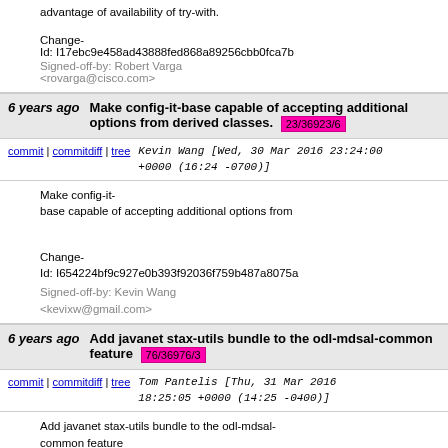advantage of availability of try-with.
Change-Id: I17ebc9e458ad43888fed868a89256cbb0fca7b
Signed-off-by: Robert Varga <rovarga@cisco.com>
6 years ago   Make config-it-base capable of accepting additional options from derived classes.  23/36923/6
commit | commitdiff | tree   Kevin Wang [Wed, 30 Mar 2016 23:24:00 +0000 (16:24 -0700)]
Make config-it-base capable of accepting additional options from

Change-Id: I654224bf9c927e0b393f92036f759b487a8075a
Signed-off-by: Kevin Wang <kevixw@gmail.com>
6 years ago   Add javanet stax-utils bundle to the odl-mdsal-common feature  76/36976/3
commit | commitdiff | tree   Tom Pantelis [Thu, 31 Mar 2016 18:25:05 +0000 (14:25 -0400)]
Add javanet stax-utils bundle to the odl-mdsal-common feature

Currently the stax...